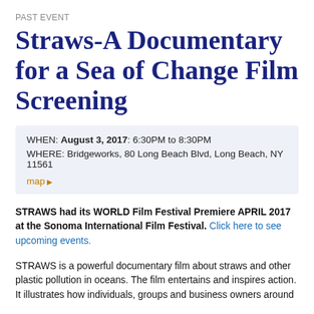PAST EVENT
Straws-A Documentary for a Sea of Change Film Screening
WHEN: August 3, 2017: 6:30PM to 8:30PM
WHERE: Bridgeworks, 80 Long Beach Blvd, Long Beach, NY 11561
map ▶
STRAWS had its WORLD Film Festival Premiere APRIL 2017 at the Sonoma International Film Festival. Click here to see upcoming events.
STRAWS is a powerful documentary film about straws and other plastic pollution in oceans. The film entertains and inspires action. It illustrates how individuals, groups and business owners around